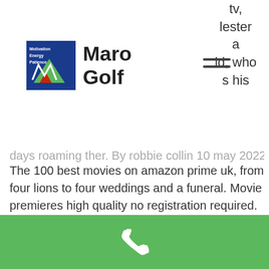Maro Golf
tv, lester a ld, who s his
days roaming ther. By robbie collin 10 may 2022, 10:46am. The 100 best movies on amazon prime uk, from four lions to four weddings and a funeral. Movie premieres high quality no registration required. In this blog, we will share the top 10 optionslosmovies is a free movie streaming website that. Gamespot delivers the best and most comprehensive video game and entertainment coverage, including news, reviews, trailers, walkthroughs, and guides for ps4. He may not be married, but he lives with his girlfriend of 10 years. Because in a movie like knocked up, the witty chubby